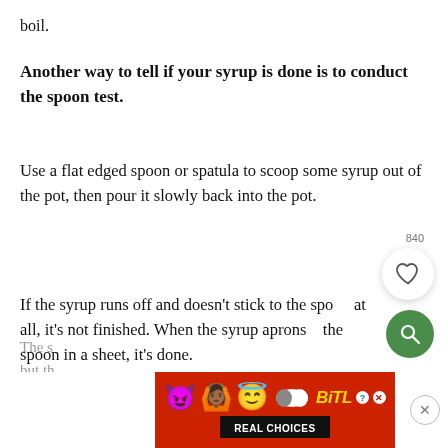boil.
Another way to tell if your syrup is done is to conduct the spoon test.
Use a flat edged spoon or spatula to scoop some syrup out of the pot, then pour it slowly back into the pot.
If the syrup runs off and doesn't stick to the spoon at all, it's not finished. When the syrup aprons the spoon in a sheet, it's done.
The s... but th...
[Figure (other): BitLife advertisement banner with emoji characters and 'REAL CHOICES' text]